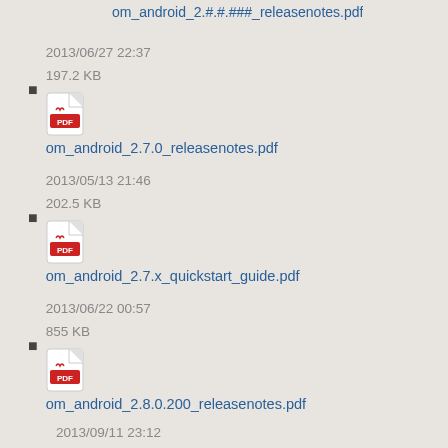om_android_2.7.0_releasenotes.pdf
2013/06/27 22:37
197.2 KB
om_android_2.7.x_quickstart_guide.pdf
2013/05/13 21:46
202.5 KB
om_android_2.8.0.200_releasenotes.pdf
2013/06/22 00:57
855 KB
2013/09/11 23:12
197.7 KB